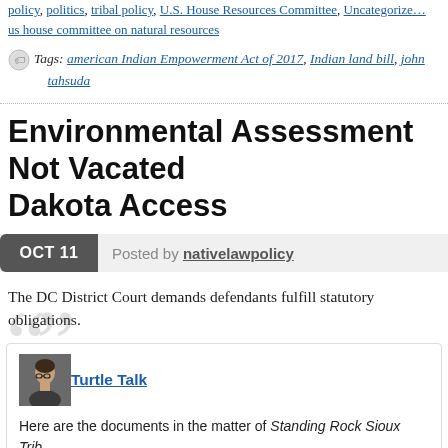policy, politics, tribal policy, U.S. House Resources Committee, Uncategorized, us house committee on natural resources
Tags: american Indian Empowerment Act of 2017, Indian land bill, john tahsuda
Environmental Assessment Not Vacated Dakota Access
OCT 11   Posted by nativelawpolicy
The DC District Court demands defendants fulfill statutory obligations.
Turtle Talk — Here are the documents in the matter of Standing Rock Sioux Tribe v. Corps of Engineers et al (D.D.C. 16-cv-01534): Doc. 283 – Order